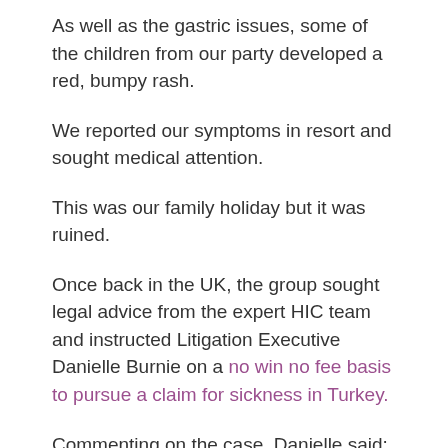As well as the gastric issues, some of the children from our party developed a red, bumpy rash.
We reported our symptoms in resort and sought medical attention.
This was our family holiday but it was ruined.
Once back in the UK, the group sought legal advice from the expert HIC team and instructed Litigation Executive Danielle Burnie on a no win no fee basis to pursue a claim for sickness in Turkey.
Commenting on the case, Danielle said: I am saddened to learn that this familys holiday at Pegasos World was ruined by illness.
Sickness should never be an added extra in your package holiday and I would always advise anyone who is unfortunate enough to fall ill abroad to seek medical